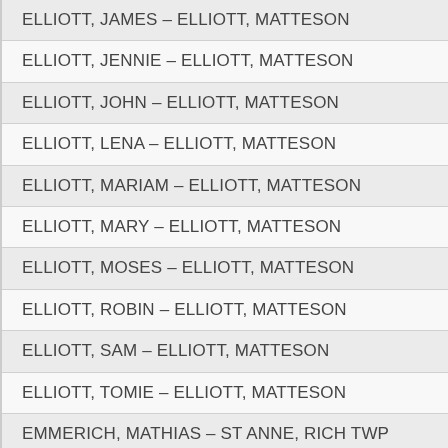ELLIOTT, JAMES – ELLIOTT, MATTESON
ELLIOTT, JENNIE – ELLIOTT, MATTESON
ELLIOTT, JOHN – ELLIOTT, MATTESON
ELLIOTT, LENA – ELLIOTT, MATTESON
ELLIOTT, MARIAM – ELLIOTT, MATTESON
ELLIOTT, MARY – ELLIOTT, MATTESON
ELLIOTT, MOSES – ELLIOTT, MATTESON
ELLIOTT, ROBIN – ELLIOTT, MATTESON
ELLIOTT, SAM – ELLIOTT, MATTESON
ELLIOTT, TOMIE – ELLIOTT, MATTESON
EMMERICH, MATHIAS – ST ANNE, RICH TWP